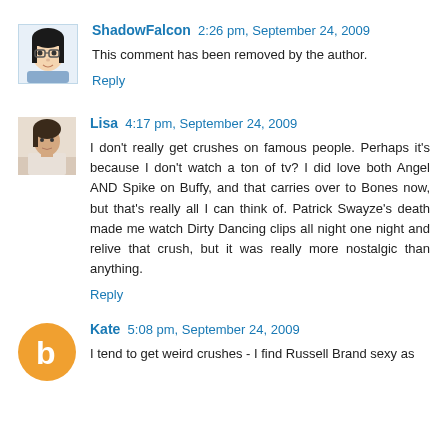[Figure (illustration): Avatar of ShadowFalcon: cartoon illustration of a woman with dark hair and glasses]
ShadowFalcon 2:26 pm, September 24, 2009
This comment has been removed by the author.
Reply
[Figure (photo): Avatar of Lisa: photo of a woman]
Lisa 4:17 pm, September 24, 2009
I don't really get crushes on famous people. Perhaps it's because I don't watch a ton of tv? I did love both Angel AND Spike on Buffy, and that carries over to Bones now, but that's really all I can think of. Patrick Swayze's death made me watch Dirty Dancing clips all night one night and relive that crush, but it was really more nostalgic than anything.
Reply
[Figure (logo): Avatar of Kate: orange circle with white Blogger 'b' logo]
Kate 5:08 pm, September 24, 2009
I tend to get weird crushes - I find Russell Brand sexy as